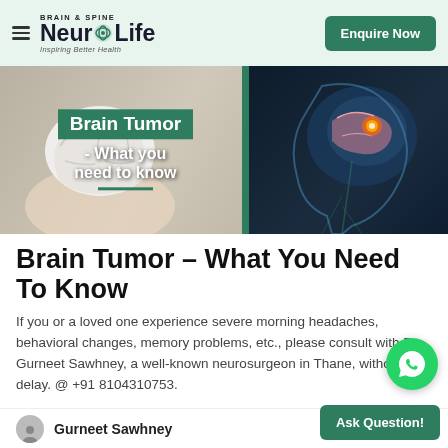BRAIN & SPINE NeuroLife — Inspiring Better Health | Enquire Now
[Figure (illustration): Banner image showing a hand holding a white brain model on the left, and a glowing brain scan of a human head profile on the right, with 'Brain Tumor - What you need to know' text overlay and green stripe divider]
Brain Tumor – What You Need To Know
If you or a loved one experience severe morning headaches, behavioral changes, memory problems, etc., please consult with Dr. Gurneet Sawhney, a well-known neurosurgeon in Thane, without delay. @ +91 8104310753.
Gurneet Sawhney  Crea...